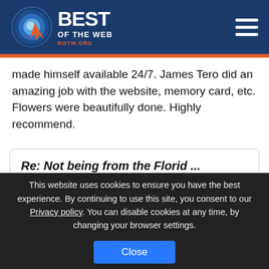Best of the Web — botw.org
made himself available 24/7. James Tero did an amazing job with the website, memory card, etc. Flowers were beautifully done. Highly recommend.
Re: Not being from the Florid ...
Coral Springs Funeral Home replied on Monday, November 29th 2021
Thank you, Rose, for your kind words. We hope all visitors feel that same peaceful feeling as you have. We
This website uses cookies to ensure you have the best experience. By continuing to use this site, you consent to our Privacy policy. You can disable cookies at any time, by changing your browser settings.